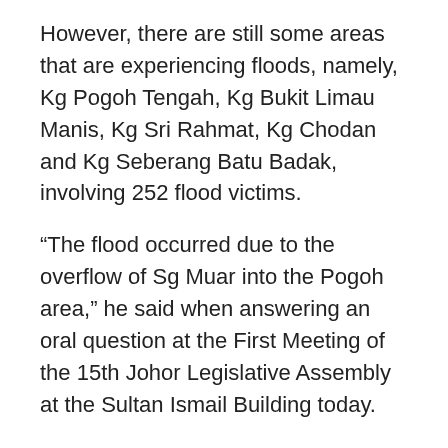However, there are still some areas that are experiencing floods, namely, Kg Pogoh Tengah, Kg Bukit Limau Manis, Kg Sri Rahmat, Kg Chodan and Kg Seberang Batu Badak, involving 252 flood victims.
“The flood occurred due to the overflow of Sg Muar into the Pogoh area,” he said when answering an oral question at the First Meeting of the 15th Johor Legislative Assembly at the Sultan Ismail Building today.
Raven (BN-Tenggaroh) said the Irrigation and Drainage Department has prepared a long-term plan through the FMP Segamat Phase 2 project, which will be implemented in two packages.
“The menteri besar of Johor (Onn Hafiz Ghazi) has also approved an allocation of RM500,000 to carry out survey work this year.